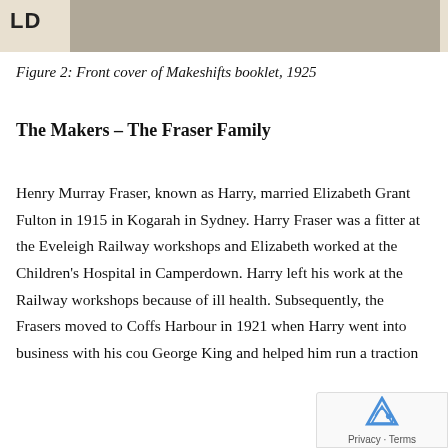[Figure (photo): Top portion of front cover of Makeshifts booklet, 1925, showing 'LD' text label on left and a partial black-and-white photograph on the right.]
Figure 2: Front cover of Makeshifts booklet, 1925
The Makers – The Fraser Family
Henry Murray Fraser, known as Harry, married Elizabeth Grant Fulton in 1915 in Kogarah in Sydney. Harry Fraser was a fitter at the Eveleigh Railway workshops and Elizabeth worked at the Children's Hospital in Camperdown. Harry left his work at the Railway workshops because of ill health. Subsequently, the Frasers moved to Coffs Harbour in 1921 when Harry went into business with his cou George King and helped him run a traction